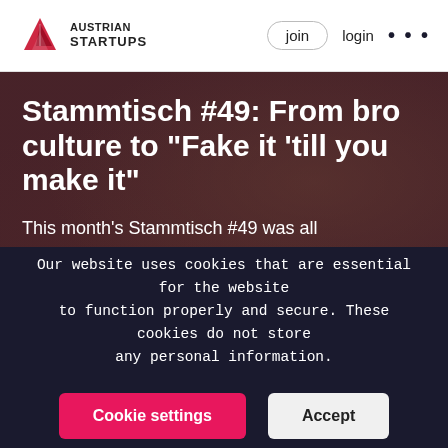[Figure (logo): Austrian Startups logo — red triangle/mountain icon with text AUSTRIAN STARTUPS]
join   login   •••
[Figure (photo): Dark-toned photo of people gathered around a table at a startup meetup event, used as hero background image]
Stammtisch #49: From bro culture to “Fake it ‘till you make it”
This month’s Stammtisch #49 was all
Our website uses cookies that are essential for the website to function properly and secure. These cookies do not store any personal information.
Cookie settings   Accept